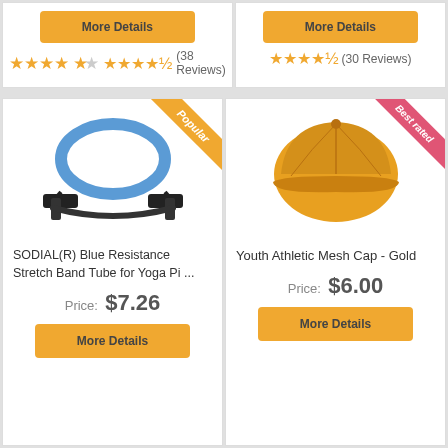[Figure (other): More Details button for first top product]
★★★★½ (38 Reviews)
[Figure (other): More Details button for second top product]
★★★★½ (30 Reviews)
[Figure (photo): SODIAL(R) Blue Resistance Stretch Band Tube for Yoga Pi... with Popular badge ribbon]
SODIAL(R) Blue Resistance Stretch Band Tube for Yoga Pi ...
Price: $7.26
More Details
[Figure (photo): Youth Athletic Mesh Cap - Gold with Best rated badge ribbon]
Youth Athletic Mesh Cap - Gold
Price: $6.00
More Details